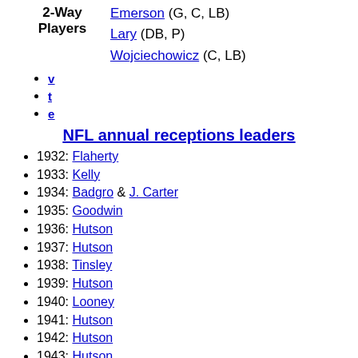Emerson (G, C, LB)
Lary (DB, P)
Wojciechowicz (C, LB)
v
t
e
NFL annual receptions leaders
1932: Flaherty
1933: Kelly
1934: Badgro & J. Carter
1935: Goodwin
1936: Hutson
1937: Hutson
1938: Tinsley
1939: Hutson
1940: Looney
1941: Hutson
1942: Hutson
1943: Hutson
1944: Hutson
1945: Hutson
1946: Benton
1947: Speedie